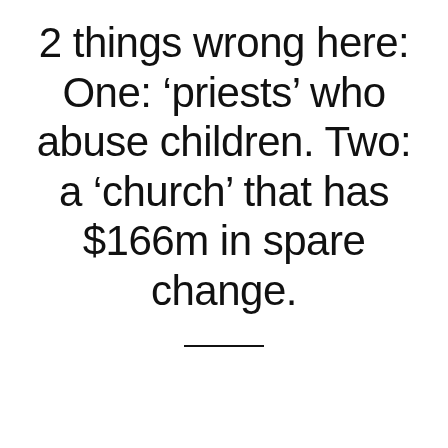2 things wrong here: One: ‘priests’ who abuse children. Two: a ‘church’ that has $166m in spare change.